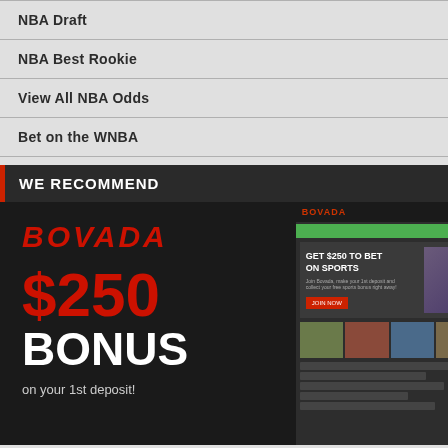NBA Draft
NBA Best Rookie
View All NBA Odds
Bet on the WNBA
WE RECOMMEND
[Figure (screenshot): Bovada sports betting advertisement banner showing $250 bonus on 1st deposit with a preview of the Bovada website interface on the right side]